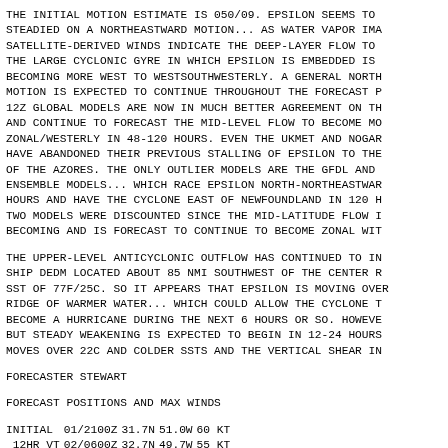THE INITIAL MOTION ESTIMATE IS 050/09. EPSILON SEEMS TO BE STEADIED ON A NORTHEASTWARD MOTION... AS WATER VAPOR IMA SATELLITE-DERIVED WINDS INDICATE THE DEEP-LAYER FLOW TO THE LARGE CYCLONIC GYRE IN WHICH EPSILON IS EMBEDDED IS BECOMING MORE WEST TO WESTSOUTHWESTERLY. A GENERAL NORTH MOTION IS EXPECTED TO CONTINUE THROUGHOUT THE FORECAST P 12Z GLOBAL MODELS ARE NOW IN MUCH BETTER AGREEMENT ON TH AND CONTINUE TO FORECAST THE MID-LEVEL FLOW TO BECOME MO ZONAL/WESTERLY IN 48-120 HOURS. EVEN THE UKMET AND NOGAR HAVE ABANDONED THEIR PREVIOUS STALLING OF EPSILON TO THE OF THE AZORES. THE ONLY OUTLIER MODELS ARE THE GFDL AND ENSEMBLE MODELS... WHICH RACE EPSILON NORTH-NORTHEASTWAR HOURS AND HAVE THE CYCLONE EAST OF NEWFOUNDLAND IN 120 H TWO MODELS WERE DISCOUNTED SINCE THE MID-LATITUDE FLOW I BECOMING AND IS FORECAST TO CONTINUE TO BECOME ZONAL WIT
THE UPPER-LEVEL ANTICYCLONIC OUTFLOW HAS CONTINUED TO IM SHIP DEDM LOCATED ABOUT 85 NMI SOUTHWEST OF THE CENTER R SST OF 77F/25C. SO IT APPEARS THAT EPSILON IS MOVING OVER RIDGE OF WARMER WATER... WHICH COULD ALLOW THE CYCLONE T BECOME A HURRICANE DURING THE NEXT 6 HOURS OR SO. HOWEVE BUT STEADY WEAKENING IS EXPECTED TO BEGIN IN 12-24 HOURS MOVES OVER 22C AND COLDER SSTS AND THE VERTICAL SHEAR IN
FORECASTER STEWART
FORECAST POSITIONS AND MAX WINDS
|  |  |  |  |  |
| --- | --- | --- | --- | --- |
| INITIAL | 01/2100Z | 31.7N | 51.0W | 60 KT |
|  12HR VT | 02/0600Z | 32.7N | 49.7W | 55 KT |